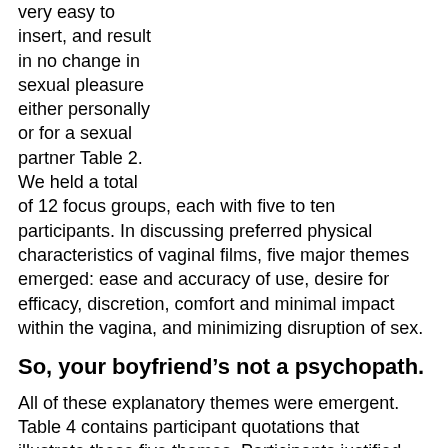very easy to insert, and result in no change in sexual pleasure either personally or for a sexual partner Table 2. We held a total of 12 focus groups, each with five to ten participants. In discussing preferred physical characteristics of vaginal films, five major themes emerged: ease and accuracy of use, desire for efficacy, discretion, comfort and minimal impact within the vagina, and minimizing disruption of sex.
So, your boyfriend’s not a psychopath.
All of these explanatory themes were emergent. Table 4 contains participant quotations that illustrate these five themes. Participants justified hypothetical preference for film characteristics based on beliefs that certain characteristics could impact correct versus